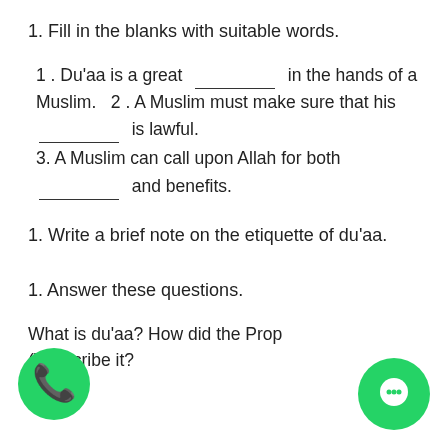1. Fill in the blanks with suitable words.
1. Du'aa is a great ___ in the hands of a Muslim.   2. A Muslim must make sure that his ___ is lawful.
3. A Muslim can call upon Allah for both ___ and benefits.
1. Write a brief note on the etiquette of du'aa.
1. Answer these questions.
What is du'aa? How did the Prop() describe it?